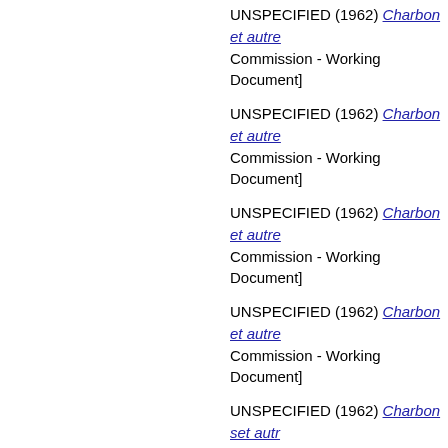UNSPECIFIED (1962) Charbon et autre... Commission - Working Document]
UNSPECIFIED (1962) Charbon et autre... Commission - Working Document]
UNSPECIFIED (1962) Charbon et autre... Commission - Working Document]
UNSPECIFIED (1962) Charbon et autre... Commission - Working Document]
UNSPECIFIED (1962) Charbon set autr... Commission - Working Document]
UNSPECIFIED (1962) Communique: R... and Steel Community High Authority Inf...
Malvestiti, Piero. (1962) Discours du Pre... 1962=Full text and summary of a speec... of members of the Consultative Assemb... September 1962. [EU Speech]
UNSPECIFIED (1962) ECSC Porte-par...